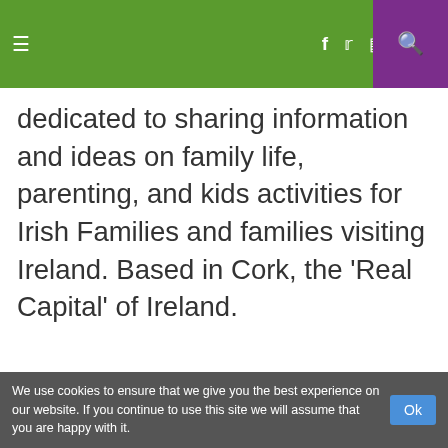≡  f  twitter  instagram  pinterest  🔍
dedicated to sharing information and ideas on family life, parenting, and kids activities for Irish Families and families visiting Ireland. Based in Cork, the 'Real Capital' of Ireland.
MOST POPULAR AT THIS IRISH FAMILY
Pick Your Own Strawberries
This Irish Family Goes to Lapland
Falling for Autumn: 5 Reasons to Love this time of Year
We use cookies to ensure that we give you the best experience on our website. If you continue to use this site we will assume that you are happy with it.   Ok